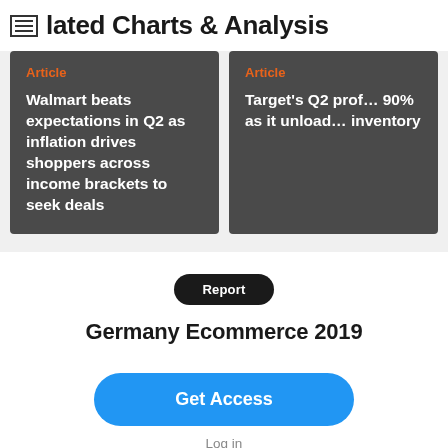Related Charts & Analysis
Article
Walmart beats expectations in Q2 as inflation drives shoppers across income brackets to seek deals
Article
Target's Q2 profits drop 90% as it unloads inventory
Report
Germany Ecommerce 2019
Get Access
Log in